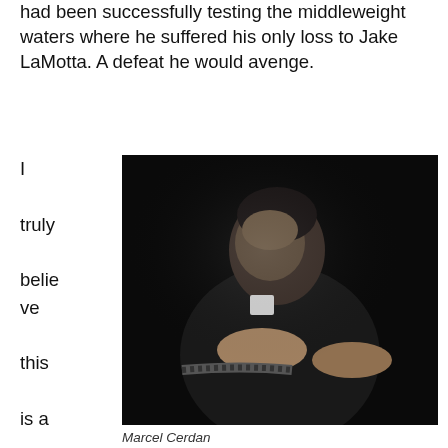had been successfully testing the middleweight waters where he suffered his only loss to Jake LaMotta. A defeat he would avenge.
[Figure (photo): Black and white photograph of a man in a dark suit leaning forward with his hands resting on a rope, looking downward. The image is dramatically lit against a black background.]
Marcel Cerdan
I truly believe this is a difficult fight to pick. Cerdan would cert